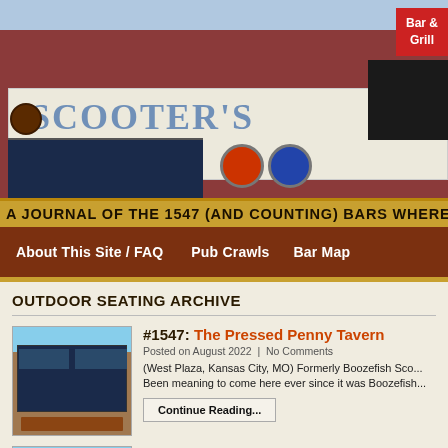[Figure (photo): Photo of Scooter's Bar and Grill exterior with large sign reading SCOOTER'S ICE COLD BEER and a Bar & Grill sign in the upper right corner]
A JOURNAL OF THE 1547 (AND COUNTING) BARS WHERE I HAVE
About This Site / FAQ   Pub Crawls   Bar Map
OUTDOOR SEATING ARCHIVE
[Figure (photo): Exterior photo of The Pressed Penny Tavern building with large windows and outdoor seating]
#1547: The Pressed Penny Tavern
Posted on August 2022  |  No Comments
(West Plaza, Kansas City, MO) Formerly Boozefish Sco... Been meaning to come here ever since it was Boozefish...
Continue Reading...
[Figure (photo): Exterior photo of Sidestreet Bar building]
#1546: Sidestreet Bar